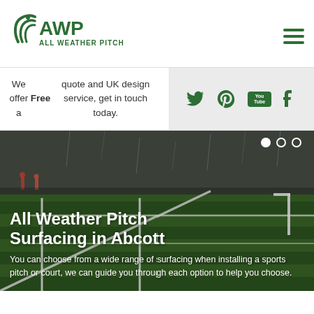[Figure (logo): AWP All Weather Pitch logo with green spiral/swoosh graphic, location pin icon, and green text]
We offer a Free quote and UK design service, get in touch today.
[Figure (infographic): Social media icons: Twitter, Pinterest, YouTube, Tumblr in dark green on light grey background]
[Figure (photo): Outdoor sports pitch with green artificial grass and white line markings in rain, with carousel dot indicators]
All Weather Pitch Surfacing in Abcott
You can choose from a wide range of surfacing when installing a sports pitch or court, we can guide you through each option to help you choose.